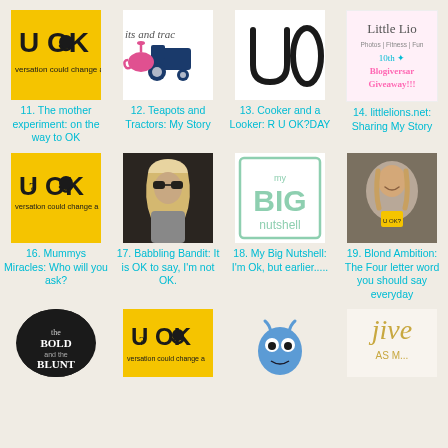[Figure (illustration): U OK? yellow logo with smiley face - item 11]
11. The mother experiment: on the way to OK
[Figure (illustration): Teapots and Tractors logo with tractor and teapot - item 12]
12. Teapots and Tractors: My Story
[Figure (illustration): U O letters on white background - item 13]
13. Cooker and a Looker: R U OK?DAY
[Figure (illustration): Little Lions blog header pink text - item 14]
14. littlelions.net: Sharing My Story
[Figure (illustration): U OK? yellow logo - item 16]
16. Mummys Miracles: Who will you ask?
[Figure (photo): Black and white photo of woman with sunglasses - item 17]
17. Babbling Bandit: It is OK to say, I'm not OK.
[Figure (illustration): My BIG nutshell logo in mint green box - item 18]
18. My Big Nutshell: I'm Ok, but earlier.....
[Figure (photo): Photo of blonde woman in fur coat and yellow top - item 19]
19. Blond Ambition: The Four letter word you should say everyday
[Figure (illustration): The Bold and the Blunt black circular logo - item 20 (partial)]
[Figure (illustration): U OK? yellow logo - item 21 (partial)]
[Figure (illustration): Blue cartoon character - item 22 (partial)]
[Figure (illustration): Jive As Me gold text logo - item 23 (partial)]